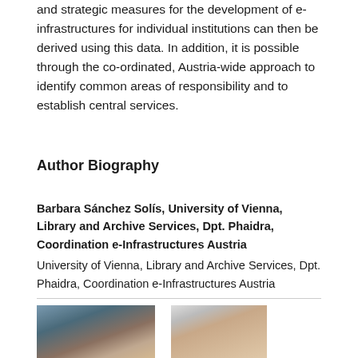and strategic measures for the development of e-infrastructures for individual institutions can then be derived using this data. In addition, it is possible through the co-ordinated, Austria-wide approach to identify common areas of responsibility and to establish central services.
Author Biography
Barbara Sánchez Solís, University of Vienna, Library and Archive Services, Dpt. Phaidra, Coordination e-Infrastructures Austria
University of Vienna, Library and Archive Services, Dpt. Phaidra, Coordination e-Infrastructures Austria
[Figure (photo): Two author portrait photos side by side: left photo shows a man, right photo shows a woman with long dark hair.]